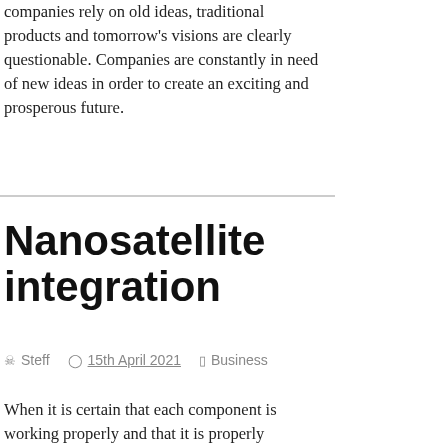companies rely on old ideas, traditional products and tomorrow's visions are clearly questionable. Companies are constantly in need of new ideas in order to create an exciting and prosperous future.
Nanosatellite integration
Steff   15th April 2021   Business
When it is certain that each component is working properly and that it is properly integrated into the other subsystems, we reach a point where all the components